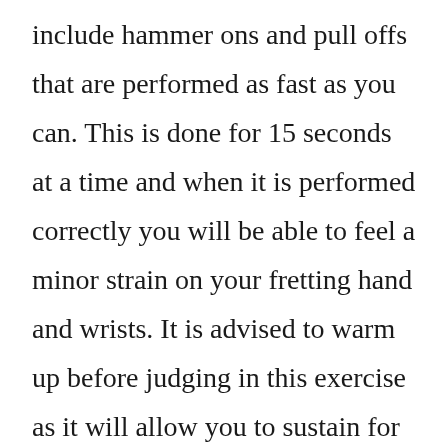include hammer ons and pull offs that are performed as fast as you can. This is done for 15 seconds at a time and when it is performed correctly you will be able to feel a minor strain on your fretting hand and wrists. It is advised to warm up before judging in this exercise as it will allow you to sustain for the whole 15 seconds with ease.

Start off by taking your index finger of the fretting hand and place it on the fifth fret of the third string. Then hammer on the second